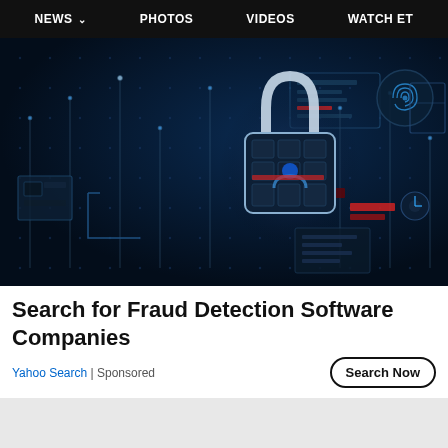NEWS  PHOTOS  VIDEOS  WATCH ET
[Figure (photo): Digital cybersecurity concept image showing a glowing padlock on a dark blue circuit board background with floating data elements, red highlighted bars, and digital rain effects]
Search for Fraud Detection Software Companies
Yahoo Search | Sponsored
Search Now